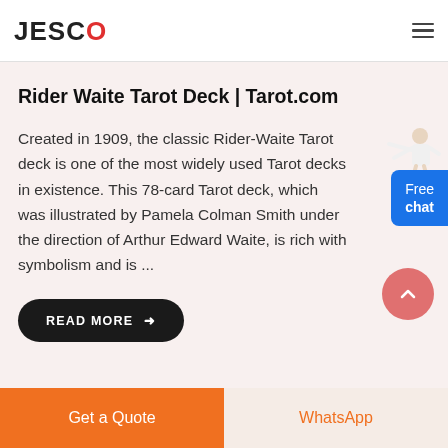JESCO
Rider Waite Tarot Deck | Tarot.com
Created in 1909, the classic Rider-Waite Tarot deck is one of the most widely used Tarot decks in existence. This 78-card Tarot deck, which was illustrated by Pamela Colman Smith under the direction of Arthur Edward Waite, is rich with symbolism and is ...
READ MORE →
[Figure (illustration): Chat agent person illustration with Free chat button widget]
[Figure (illustration): Scroll to top arrow button (pink/red circle with upward chevron)]
Get a Quote | WhatsApp